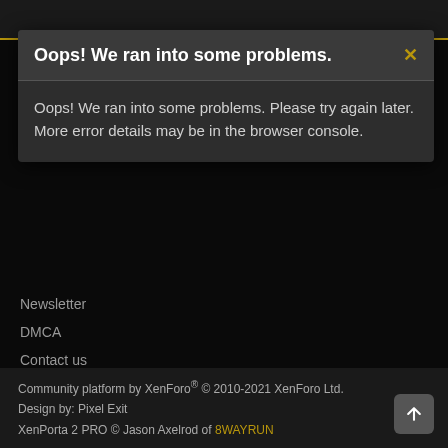Oops! We ran into some problems.
Oops! We ran into some problems. Please try again later. More error details may be in the browser console.
Newsletter
DMCA
Contact us
Terms and rules
Privacy policy
Help
Community platform by XenForo® © 2010-2021 XenForo Ltd.
Design by: Pixel Exit
XenPorta 2 PRO © Jason Axelrod of 8WAYRUN